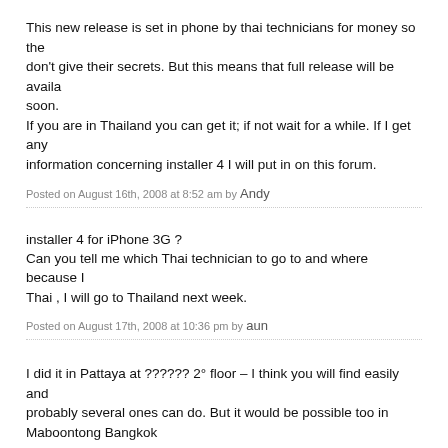This new release is set in phone by thai technicians for money so they don't give their secrets. But this means that full release will be available soon.
If you are in Thailand you can get it; if not wait for a while. If I get any information concerning installer 4 I will put in on this forum.
Posted on August 16th, 2008 at 8:52 am by Andy
installer 4 for iPhone 3G ?
Can you tell me which Thai technician to go to and where because I am Thai , I will go to Thailand next week.
Posted on August 17th, 2008 at 10:36 pm by aun
I did it in Pattaya at ?????? 2° floor – I think you will find easily and probably several ones can do. But it would be possible too in Maboontong Bangkok
Posted on August 17th, 2008 at 10:58 pm by Andy